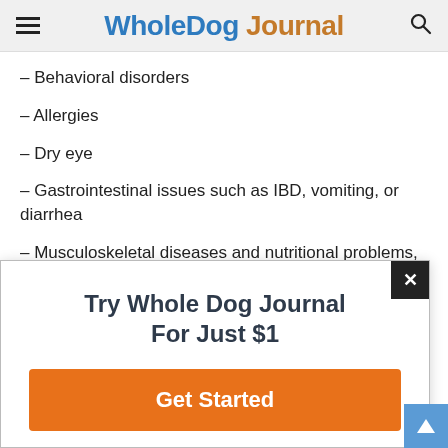Whole Dog Journal
– Behavioral disorders
– Allergies
– Dry eye
– Gastrointestinal issues such as IBD, vomiting, or diarrhea
– Musculoskeletal diseases and nutritional problems,
[Figure (other): Popup advertisement: 'Try Whole Dog Journal For Just $1' with an orange 'Get Started' button and a close (×) button in the top-right corner.]